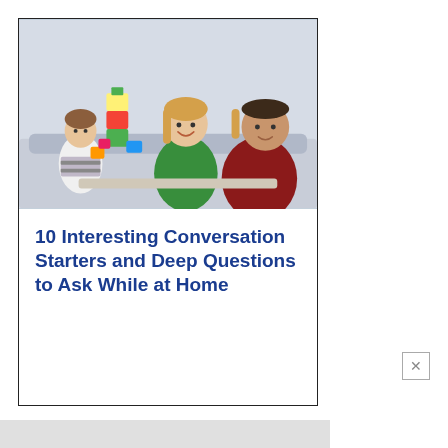[Figure (photo): Family of three (mother in green shirt, father in dark red shirt, young daughter in striped shirt) sitting on the floor playing with colorful building blocks together, smiling and interacting]
10 Interesting Conversation Starters and Deep Questions to Ask While at Home